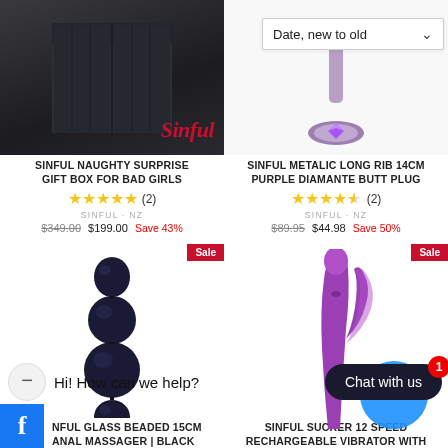[Figure (photo): Dark grey metal storage box/cabinet product image with Sinful logo overlay]
SINFUL NAUGHTY SURPRISE GIFT BOX FOR BAD GIRLS
★★★★★ (2)
SINFUL · NZ
$349.00 $199.00 Save 43%
[Figure (photo): Purple metallic ribbed butt plug product image with Date new to old dropdown visible]
SINFUL METALIC LONG RIB 14CM PURPLE DIAMANTE BUTT PLUG
★★★★½ (2)
SINFUL · NZ
$89.95 $44.98 Save 50%
[Figure (photo): Black glass beaded anal massager product image with Sale badge]
[Figure (photo): Purple rabbit vibrator product image with Sale badge and blue circle overlay]
SINFUL GLASS BEADED 15CM ANAL MASSAGER | BLACK
SINFUL SUCKER 12 SPEED RECHARGEABLE VIBRATOR WITH
Hi! How can we help?
Chat with us
1